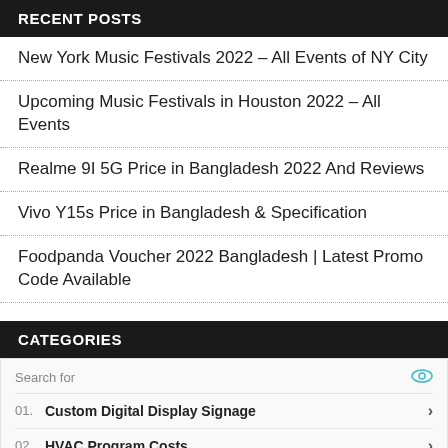RECENT POSTS
New York Music Festivals 2022 – All Events of NY City
Upcoming Music Festivals in Houston 2022 – All Events
Realme 9I 5G Price in Bangladesh 2022 And Reviews
Vivo Y15s Price in Bangladesh & Specification
Foodpanda Voucher 2022 Bangladesh | Latest Promo Code Available
CATEGORIES
[Figure (screenshot): Yahoo Search sponsored ad widget showing: Search for row with eye icon, 01. Custom Digital Display Signage with arrow, 02. HVAC Program Costs with arrow, Yahoo! Search | Sponsored footer with play icon]